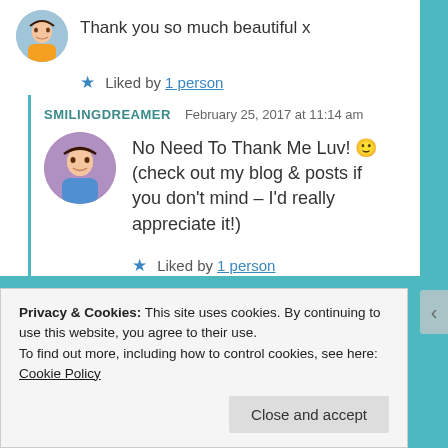Thank you so much beautiful x
★ Liked by 1 person
SMILINGDREAMER   February 25, 2017 at 11:14 am
No Need To Thank Me Luv! 🙂 (check out my blog & posts if you don't mind – I'd really appreciate it!)
★ Liked by 1 person
Privacy & Cookies: This site uses cookies. By continuing to use this website, you agree to their use.
To find out more, including how to control cookies, see here: Cookie Policy
Close and accept